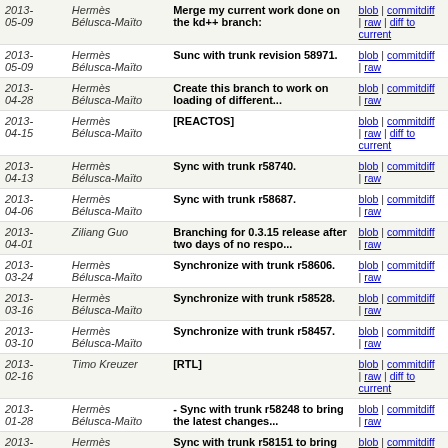| Date | Author | Message | Links |
| --- | --- | --- | --- |
| 2013-05-09 | Hermès Bélusca-Maïto | Merge my current work done on the kd++ branch: | blob | commitdiff | raw | diff to current |
| 2013-05-09 | Hermès Bélusca-Maïto | Sunc with trunk revision 58971. | blob | commitdiff | raw |
| 2013-04-28 | Hermès Bélusca-Maïto | Create this branch to work on loading of different... | blob | commitdiff | raw |
| 2013-04-15 | Hermès Bélusca-Maïto | [REACTOS] | blob | commitdiff | raw | diff to current |
| 2013-04-13 | Hermès Bélusca-Maïto | Sync with trunk r58740. | blob | commitdiff | raw |
| 2013-04-06 | Hermès Bélusca-Maïto | Sync with trunk r58687. | blob | commitdiff | raw |
| 2013-04-01 | Ziliang Guo | Branching for 0.3.15 release after two days of no respo... | blob | commitdiff | raw |
| 2013-03-24 | Hermès Bélusca-Maïto | Synchronize with trunk r58606. | blob | commitdiff | raw |
| 2013-03-16 | Hermès Bélusca-Maïto | Synchronize with trunk r58528. | blob | commitdiff | raw |
| 2013-03-10 | Hermès Bélusca-Maïto | Synchronize with trunk r58457. | blob | commitdiff | raw |
| 2013-02-16 | Timo Kreuzer | [RTL] | blob | commitdiff | raw | diff to current |
| 2013-01-28 | Hermès Bélusca-Maïto | - Sync with trunk r58248 to bring the latest changes... | blob | commitdiff | raw |
| 2013-01-09 | Hermès Bélusca-Maïto | Sync with trunk r58151 to bring the latest changes... | blob | commitdiff | raw |
| 2013- | Hermès | Sync with trunk r58033 | blob | commitdiff |